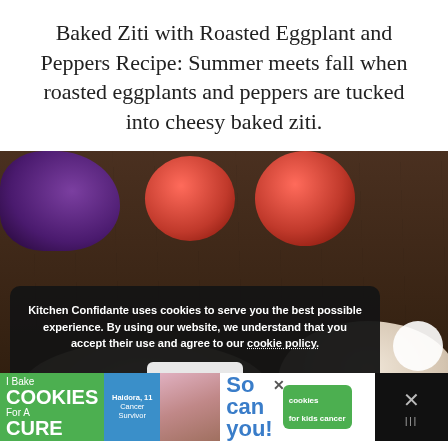Baked Ziti with Roasted Eggplant and Peppers Recipe: Summer meets fall when roasted eggplants and peppers are tucked into cheesy baked ziti.
[Figure (photo): Food photograph showing two red tomatoes, an eggplant on a wooden surface, with bowls of baked ziti pasta in the background. A cookie consent notice overlay reads: 'Kitchen Confidante uses cookies to serve you the best possible experience. By using our website, we understand that you accept their use and agree to our cookie policy.' with an Accept button. A yellow search button is visible at bottom right. An advertisement banner for 'I Bake Cookies For A Cure' is partially visible at the bottom.]